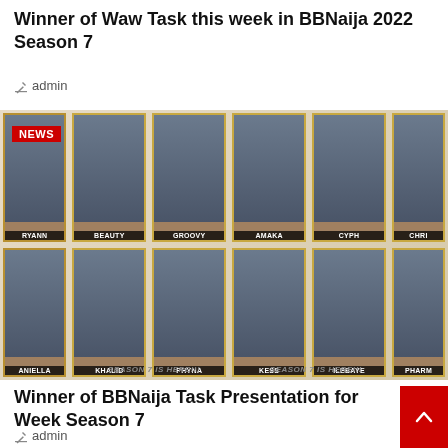Winner of Waw Task this week in BBNaija 2022 Season 7
✎ admin
[Figure (photo): BBNaija Season 7 housemates grid showing contestants including Ryann, Beauty, Groovy, Amaka, Cyph, Chri (top row) and Aniella, Khalid, Phyna, Kess, Ilebaye, Pharm (bottom row), with NEWS badge and SEASON 7 IS HERE!!! text]
Winner of BBNaija Task Presentation for Week Season 7
✎ admin